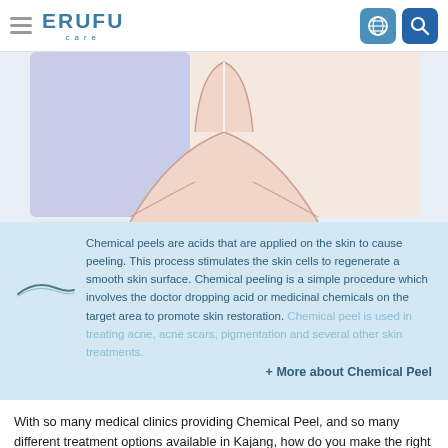ERUFU care
[Figure (illustration): Medical illustration of a human neck/chest area with a vertical center line, set against a light purple/blue background on the left side and white on the right.]
Chemical peels are acids that are applied on the skin to cause peeling. This process stimulates the skin cells to regenerate a smooth skin surface. Chemical peeling is a simple procedure which involves the doctor dropping acid or medicinal chemicals on the target area to promote skin restoration. Chemical peel is used in treating acne, acne scars, pigmentation and several other skin treatments.
+ More about Chemical Peel
With so many medical clinics providing Chemical Peel, and so many different treatment options available in Kajang, how do you make the right choice?
As an online community medical support network here at Erufu Care, we have compiled the best medical clinics providing